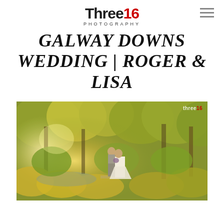Three16 PHOTOGRAPHY
GALWAY DOWNS WEDDING | ROGER & LISA
[Figure (photo): Wedding couple standing together on a wooden bridge or platform surrounded by lush green and golden foliage, trees, and natural garden scenery. The bride is in a white dress and the groom in a grey suit. Warm afternoon light filters through the trees. Three16 Photography watermark in top right corner.]